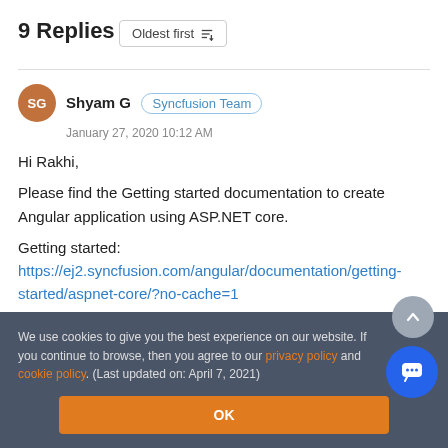9 Replies
Oldest first
Shyam G  Syncfusion Team
January 27, 2020 10:12 AM
Hi Rakhi,
Please find the Getting started documentation to create Angular application using ASP.NET core.
Getting started: https://ej2.syncfusion.com/angular/documentation/getting-started/aspnet-core/?no-cache=1
We use cookies to give you the best experience on our website. If you continue to browse, then you agree to our privacy policy and cookie policy.  (Last updated on: April 7, 2021)